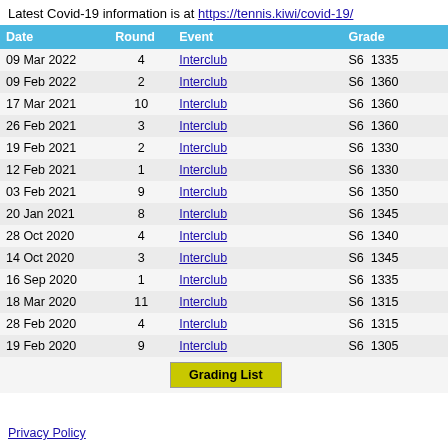Latest Covid-19 information is at https://tennis.kiwi/covid-19/
| Date | Round | Event | Grade |  |
| --- | --- | --- | --- | --- |
| 09 Mar 2022 | 4 | Interclub | S6  1335 |  |
| 09 Feb 2022 | 2 | Interclub | S6  1360 |  |
| 17 Mar 2021 | 10 | Interclub | S6  1360 |  |
| 26 Feb 2021 | 3 | Interclub | S6  1360 |  |
| 19 Feb 2021 | 2 | Interclub | S6  1330 |  |
| 12 Feb 2021 | 1 | Interclub | S6  1330 |  |
| 03 Feb 2021 | 9 | Interclub | S6  1350 |  |
| 20 Jan 2021 | 8 | Interclub | S6  1345 |  |
| 28 Oct 2020 | 4 | Interclub | S6  1340 |  |
| 14 Oct 2020 | 3 | Interclub | S6  1345 |  |
| 16 Sep 2020 | 1 | Interclub | S6  1335 |  |
| 18 Mar 2020 | 11 | Interclub | S6  1315 |  |
| 28 Feb 2020 | 4 | Interclub | S6  1315 |  |
| 19 Feb 2020 | 9 | Interclub | S6  1305 |  |
Grading List
Privacy Policy